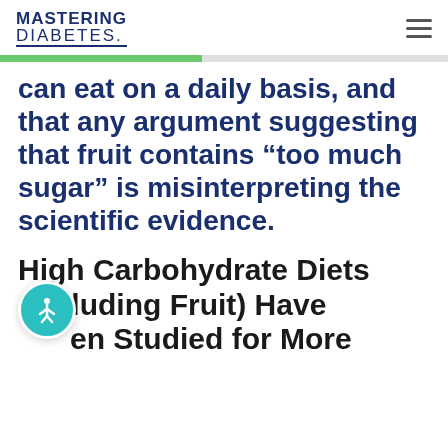MASTERING DIABETES.
can eat on a daily basis, and that any argument suggesting that fruit contains “too much sugar” is misinterpreting the scientific evidence.
High Carbohydrate Diets (Including Fruit) Have Been Studied for More